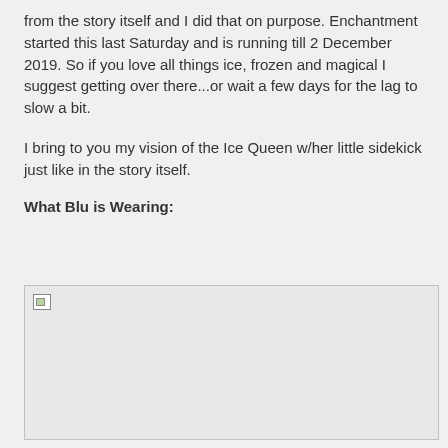from the story itself and I did that on purpose. Enchantment started this last Saturday and is running till 2 December 2019. So if you love all things ice, frozen and magical I suggest getting over there...or wait a few days for the lag to slow a bit.
I bring to you my vision of the Ice Queen w/her little sidekick just like in the story itself.
What Blu is Wearing:
[Figure (photo): Broken/unloaded image placeholder with gray background and border]